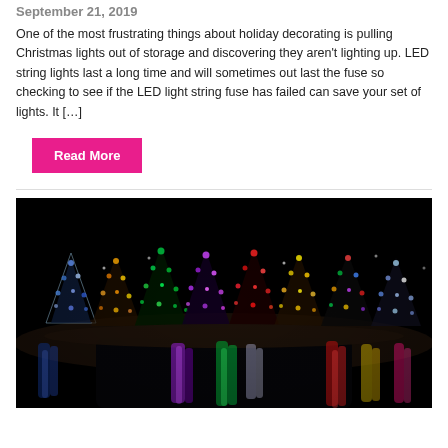September 21, 2019
One of the most frustrating things about holiday decorating is pulling Christmas lights out of storage and discovering they aren't lighting up. LED string lights last a long time and will sometimes out last the fuse so checking to see if the LED light string fuse has failed can save your set of lights. It […]
Read More
[Figure (photo): A nighttime photo of colorful LED-lit trees (blue, green, red, yellow, purple, orange) reflected in a dark pond or water surface, creating vibrant streaks of color reflections below.]